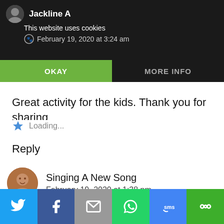Jackline A
February 19, 2020 at 3:24 am
This website uses cookies
OKAY | MORE INFO
Great activity for the kids. Thank you for sharing
Loading...
Reply
Singing A New Song
February 19, 2020 at 1:38 pm
[Figure (infographic): Social sharing bar with Twitter, Facebook, Email, WhatsApp, SMS, and More icons]